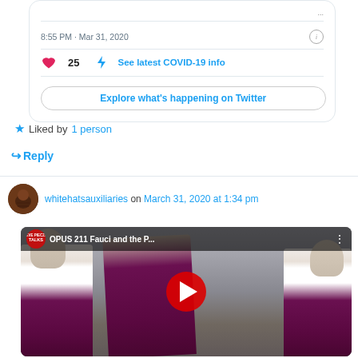[Figure (screenshot): Embedded tweet card showing time '8:55 PM · Mar 31, 2020', heart icon with 25 likes, COVID-19 info link, and 'Explore what's happening on Twitter' button]
★ Liked by 1 person
↳ Reply
whitehatsauxiliaries on March 31, 2020 at 1:34 pm
[Figure (screenshot): YouTube video thumbnail titled 'OPUS 211 Fauci and the P...' from Steve Pieczenik Talks channel, showing priests in purple vestments with a red play button overlay]